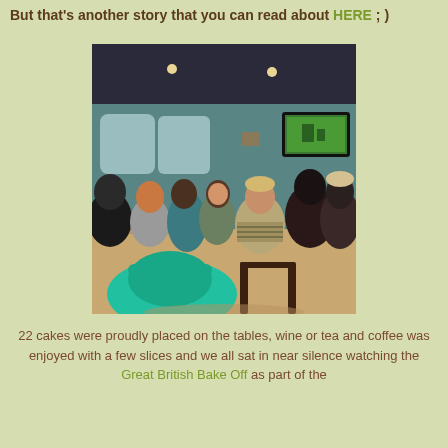But that's another story that you can read about HERE ; )
[Figure (photo): Group of people seated around tables in a room with teal/green walls, watching a TV screen mounted on the wall showing green countryside. People are facing away from camera, person in foreground wearing a turquoise/teal beanie hat.]
22 cakes were proudly placed on the tables, wine or tea and coffee was enjoyed with a few slices and we all sat in near silence watching the Great British Bake Off as part of the